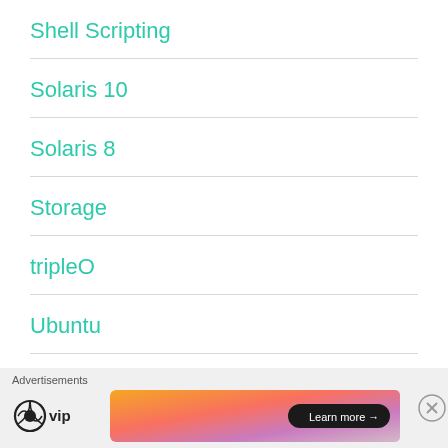Shell Scripting
Solaris 10
Solaris 8
Storage
tripleO
Ubuntu
Uncategorized
Advertisements